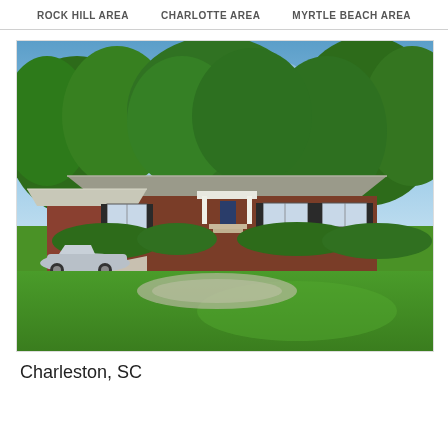ROCK HILL AREA   CHARLOTTE AREA   MYRTLE BEACH AREA
[Figure (photo): Exterior photo of a single-story brick ranch house with a white portico, carport on the left with a silver BMW parked, lush green lawn in the foreground, and large green trees in the background under a blue sky.]
Charleston, SC